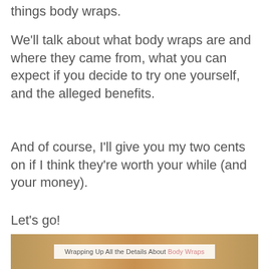things body wraps.
We'll talk about what body wraps are and where they came from, what you can expect if you decide to try one yourself, and the alleged benefits.
And of course, I'll give you my two cents on if I think they're worth your while (and your money).
Let's go!
[Figure (photo): Photo of a person receiving a body wrap treatment with golden/metallic wrap material, overlaid with a caption box reading 'Wrapping Up All the Details About Body Wraps']